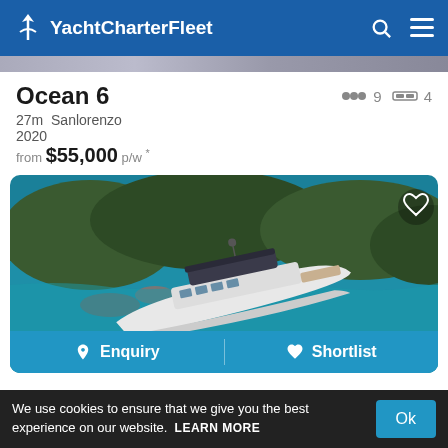YachtCharterFleet
Ocean 6
27m  Sanlorenzo
2020
from $55,000 p/w *
[Figure (photo): Aerial view of a white Sanlorenzo motor yacht anchored in turquoise water near rocky coastline with trees]
Enquiry  Shortlist
We use cookies to ensure that we give you the best experience on our website.  LEARN MORE  Ok